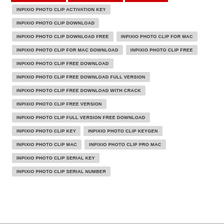INPIXIO PHOTO CLIP ACTIVATION KEY
INPIXIO PHOTO CLIP DOWNLOAD
INPIXIO PHOTO CLIP DOWNLOAD FREE
INPIXIO PHOTO CLIP FOR MAC
INPIXIO PHOTO CLIP FOR MAC DOWNLOAD
INPIXIO PHOTO CLIP FREE
INPIXIO PHOTO CLIP FREE DOWNLOAD
INPIXIO PHOTO CLIP FREE DOWNLOAD FULL VERSION
INPIXIO PHOTO CLIP FREE DOWNLOAD WITH CRACK
INPIXIO PHOTO CLIP FREE VERSION
INPIXIO PHOTO CLIP FULL VERSION FREE DOWNLOAD
INPIXIO PHOTO CLIP KEY
INPIXIO PHOTO CLIP KEYGEN
INPIXIO PHOTO CLIP MAC
INPIXIO PHOTO CLIP PRO MAC
INPIXIO PHOTO CLIP SERIAL KEY
INPIXIO PHOTO CLIP SERIAL NUMBER